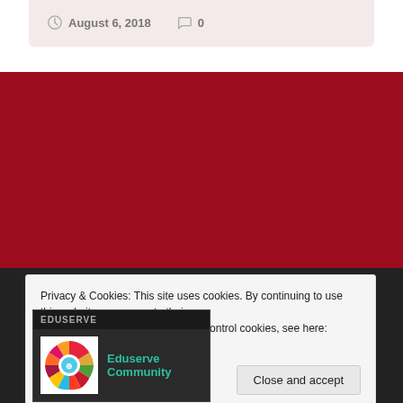August 6, 2018   0
SHAISTA KHAN
[Figure (screenshot): Eduserve Community widget with logo showing SDG colorful wheel icon and teal 'Eduserve Community' link text]
Privacy & Cookies: This site uses cookies. By continuing to use this website, you agree to their use.
To find out more, including how to control cookies, see here: Cookie Policy
Close and accept